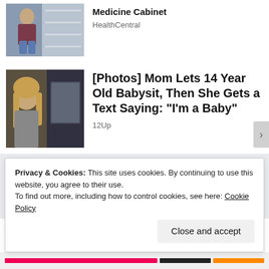[Figure (photo): Woman browsing products in a pharmacy/store shelf]
Medicine Cabinet
HealthCentral
[Figure (photo): Young teenage girl looking serious, split image]
[Photos] Mom Lets 14 Year Old Babysit, Then She Gets a Text Saying: "I'm a Baby"
12Up
[Figure (photo): Dark blue neck pillow / travel pillow product]
Privacy & Cookies: This site uses cookies. By continuing to use this website, you agree to their use.
To find out more, including how to control cookies, see here: Cookie Policy
Close and accept